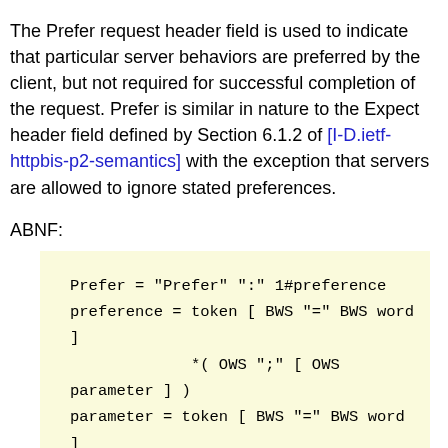The Prefer request header field is used to indicate that particular server behaviors are preferred by the client, but not required for successful completion of the request. Prefer is similar in nature to the Expect header field defined by Section 6.1.2 of [I-D.ietf-httpbis-p2-semantics] with the exception that servers are allowed to ignore stated preferences.
ABNF:
This header field is defined with an extensible syntax to allow for future values included in the Registry of